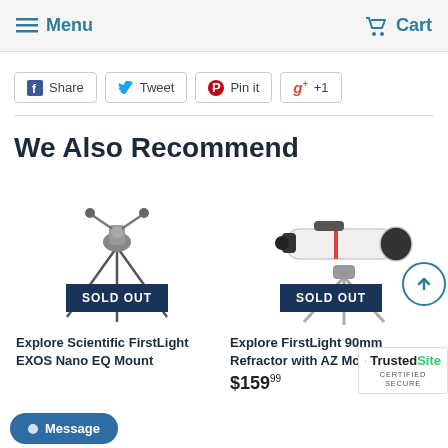Menu  Cart
Share  Tweet  Pin it  +1
We Also Recommend
[Figure (photo): Telescope mount on tripod with SOLD OUT badge]
Explore Scientific FirstLight EXOS Nano EQ Mount
[Figure (photo): White refractor telescope on tripod with SOLD OUT badge]
Explore FirstLight 90mm Refractor with AZ Mount
$159.99